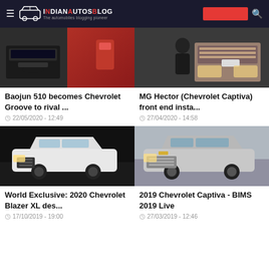IndianAutosBlog - The automobiles blogging pioneer
[Figure (photo): Baojun 510/Chevrolet Groove car interior and red exterior photo collage]
Baojun 510 becomes Chevrolet Groove to rival ...
22/05/2020 - 12:49
[Figure (photo): MG Hector (Chevrolet Captiva) front end installation photo, technician working on grille]
MG Hector (Chevrolet Captiva) front end insta...
27/04/2020 - 14:58
[Figure (photo): 2020 Chevrolet Blazer XL white SUV on dark background]
World Exclusive: 2020 Chevrolet Blazer XL des...
17/10/2019 - 19:00
[Figure (photo): 2019 Chevrolet Captiva silver SUV at BIMS 2019]
2019 Chevrolet Captiva - BIMS 2019 Live
27/03/2019 - 12:46